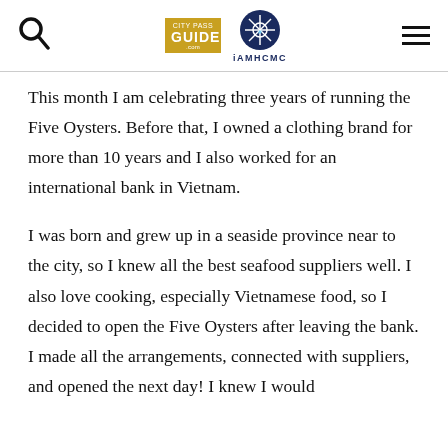City Pass Guide | iAMHCMC
This month I am celebrating three years of running the Five Oysters. Before that, I owned a clothing brand for more than 10 years and I also worked for an international bank in Vietnam.
I was born and grew up in a seaside province near to the city, so I knew all the best seafood suppliers well. I also love cooking, especially Vietnamese food, so I decided to open the Five Oysters after leaving the bank. I made all the arrangements, connected with suppliers, and opened the next day! I knew I would